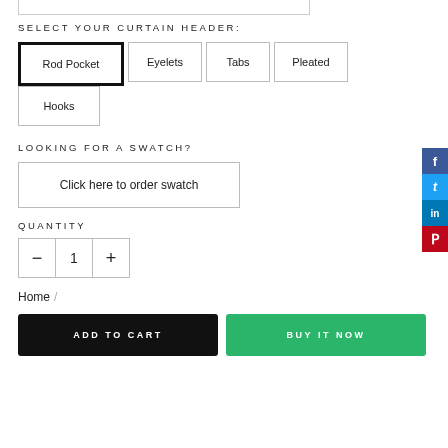SELECT YOUR CURTAIN HEADER:
Rod Pocket
Eyelets
Tabs
Pleated
Hooks
LOOKING FOR A SWATCH?
Click here to order swatch
QUANTITY
1
Home /
ADD TO CART
BUY IT NOW